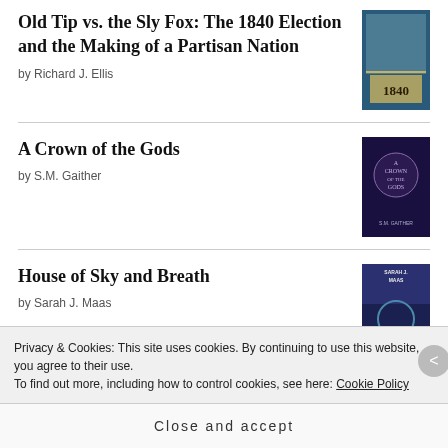Old Tip vs. the Sly Fox: The 1840 Election and the Making of a Partisan Nation by Richard J. Ellis
A Crown of the Gods by S.M. Gaither
House of Sky and Breath by Sarah J. Maas
[Figure (logo): goodreads logo in a rounded rectangle box]
Privacy & Cookies: This site uses cookies. By continuing to use this website, you agree to their use.
To find out more, including how to control cookies, see here: Cookie Policy
Close and accept